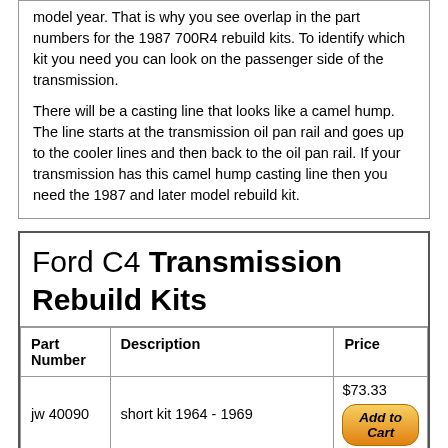model year. That is why you see overlap in the part numbers for the 1987 700R4 rebuild kits. To identify which kit you need you can look on the passenger side of the transmission.
There will be a casting line that looks like a camel hump. The line starts at the transmission oil pan rail and goes up to the cooler lines and then back to the oil pan rail. If your transmission has this camel hump casting line then you need the 1987 and later model rebuild kit.
Ford C4 Transmission Rebuild Kits
| Part Number | Description | Price |
| --- | --- | --- |
| jw 40090 | short kit 1964 - 1969 | $73.33 |